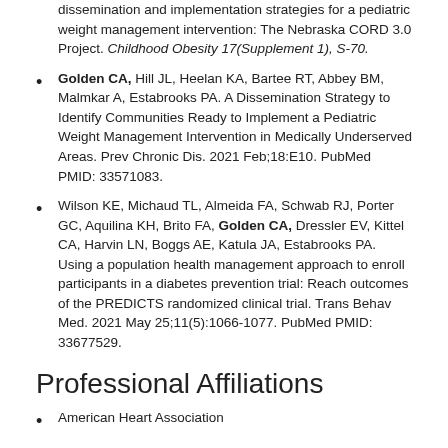dissemination and implementation strategies for a pediatric weight management intervention: The Nebraska CORD 3.0 Project. Childhood Obesity 17(Supplement 1), S-70.
Golden CA, Hill JL, Heelan KA, Bartee RT, Abbey BM, Malmkar A, Estabrooks PA. A Dissemination Strategy to Identify Communities Ready to Implement a Pediatric Weight Management Intervention in Medically Underserved Areas. Prev Chronic Dis. 2021 Feb;18:E10. PubMed PMID: 33571083.
Wilson KE, Michaud TL, Almeida FA, Schwab RJ, Porter GC, Aquilina KH, Brito FA, Golden CA, Dressler EV, Kittel CA, Harvin LN, Boggs AE, Katula JA, Estabrooks PA. Using a population health management approach to enroll participants in a diabetes prevention trial: Reach outcomes of the PREDICTS randomized clinical trial. Trans Behav Med. 2021 May 25;11(5):1066-1077. PubMed PMID: 33677529.
Professional Affiliations
American Heart Association